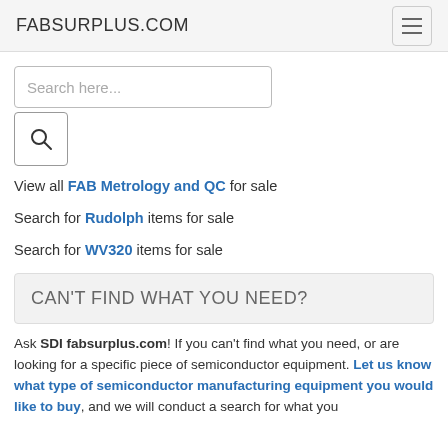FABSURPLUS.COM
[Figure (screenshot): Search input box with placeholder text 'Search here...' and a search button with magnifying glass icon below it]
View all FAB Metrology and QC for sale
Search for Rudolph items for sale
Search for WV320 items for sale
CAN'T FIND WHAT YOU NEED?
Ask SDI fabsurplus.com! If you can't find what you need, or are looking for a specific piece of semiconductor equipment. Let us know what type of semiconductor manufacturing equipment you would like to buy, and we will conduct a search for what you